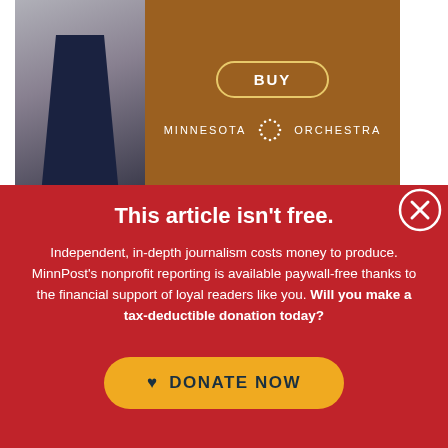[Figure (photo): Advertisement banner for Minnesota Orchestra with a BUY button, showing a man in a suit on the left and brown background with logo on the right]
“Wh...anted for...
This article isn't free.
Independent, in-depth journalism costs money to produce. MinnPost’s nonprofit reporting is available paywall-free thanks to the financial support of loyal readers like you. Will you make a tax-deductible donation today?
[Figure (other): DONATE NOW button with heart icon, yellow/gold rounded rectangle on red background]